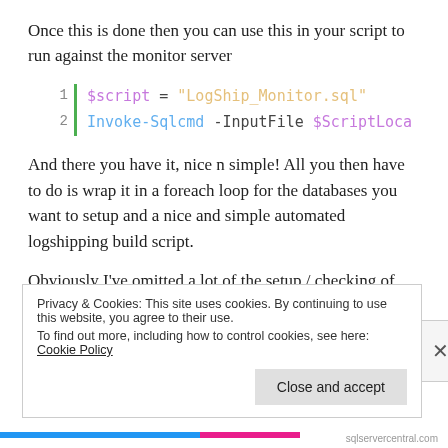Once this is done then you can use this in your script to run against the monitor server
[Figure (screenshot): Code block showing two lines of PowerShell: line 1: $script = "LogShip_Monitor.sql", line 2: Invoke-Sqlcmd -InputFile $ScriptLoca]
And there you have it, nice n simple! All you then have to do is wrap it in a foreach loop for the databases you want to setup and a nice and simple automated logshipping build script.
Obviously I’ve omitted a lot of the setup / checking of scripts etc from this post as I don’t want to be doing all the work for you!
Privacy & Cookies: This site uses cookies. By continuing to use this website, you agree to their use.
To find out more, including how to control cookies, see here: Cookie Policy